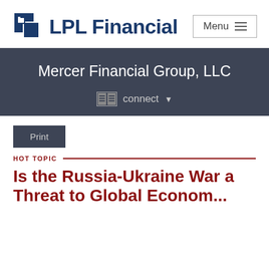[Figure (logo): LPL Financial logo with blue square icon and company name]
Mercer Financial Group, LLC
connect
Print
HOT TOPIC
Is the Russia-Ukraine War a Threat to Global Econom...